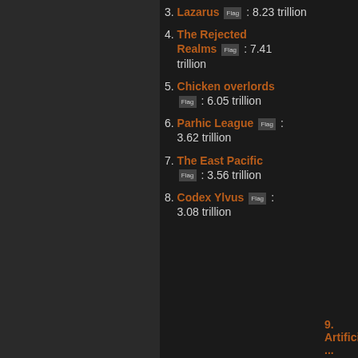3. Lazarus Flag : 8.23 trillion
4. The Rejected Realms Flag : 7.41 trillion
5. Chicken overlords Flag : 6.05 trillion
6. Parhic League Flag : 3.62 trillion
7. The East Pacific Flag : 3.56 trillion
8. Codex Ylvus Flag : 3.08 trillion
9. Artificial ...